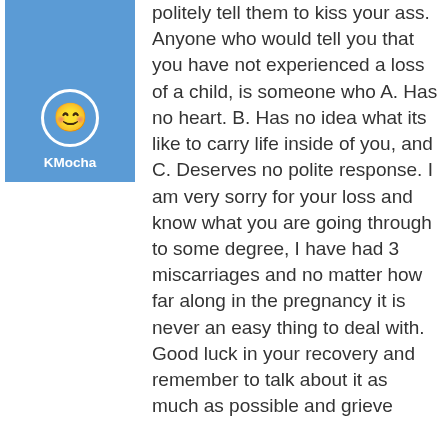[Figure (illustration): User avatar: a circular icon with an emoji face on a blue square background, with username KMocha below in white text]
politely tell them to kiss your ass. Anyone who would tell you that you have not experienced a loss of a child, is someone who A. Has no heart. B. Has no idea what its like to carry life inside of you, and C. Deserves no polite response. I am very sorry for your loss and know what you are going through to some degree, I have had 3 miscarriages and no matter how far along in the pregnancy it is never an easy thing to deal with. Good luck in your recovery and remember to talk about it as much as possible and grieve